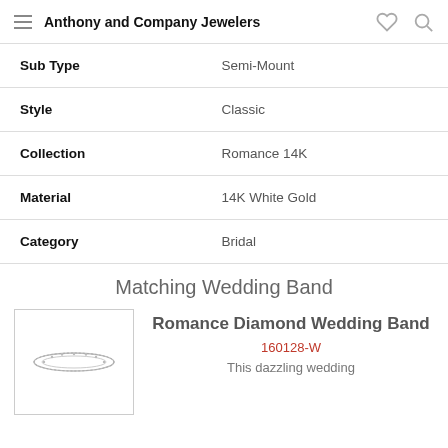Anthony and Company Jewelers
| Attribute | Value |
| --- | --- |
| Sub Type | Semi-Mount |
| Style | Classic |
| Collection | Romance 14K |
| Material | 14K White Gold |
| Category | Bridal |
Matching Wedding Band
[Figure (photo): A diamond wedding band ring photographed on white background]
Romance Diamond Wedding Band
160128-W
This dazzling wedding